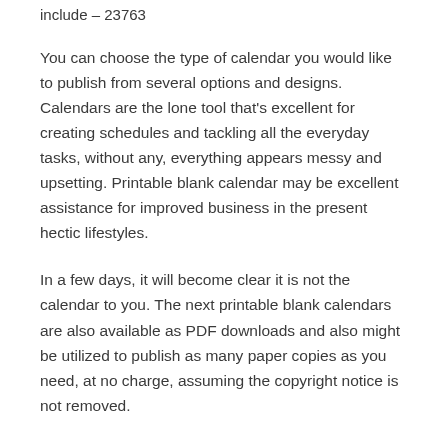include – 23763
You can choose the type of calendar you would like to publish from several options and designs. Calendars are the lone tool that's excellent for creating schedules and tackling all the everyday tasks, without any, everything appears messy and upsetting. Printable blank calendar may be excellent assistance for improved business in the present hectic lifestyles.
In a few days, it will become clear it is not the calendar to you. The next printable blank calendars are also available as PDF downloads and also might be utilized to publish as many paper copies as you need, at no charge, assuming the copyright notice is not removed.